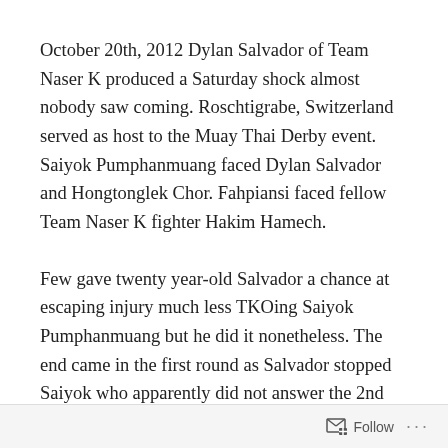October 20th, 2012 Dylan Salvador of Team Naser K produced a Saturday shock almost nobody saw coming. Roschtigrabe, Switzerland served as host to the Muay Thai Derby event. Saiyok Pumphanmuang faced Dylan Salvador and Hongtonglek Chor. Fahpiansi faced fellow Team Naser K fighter Hakim Hamech.
Few gave twenty year-old Salvador a chance at escaping injury much less TKOing Saiyok Pumphanmuang but he did it nonetheless. The end came in the first round as Salvador stopped Saiyok who apparently did not answer the 2nd round bell for long moments. The stoppage came via knee injury to Saiyok.
Salvador has been steadily building momentum with 4
Follow